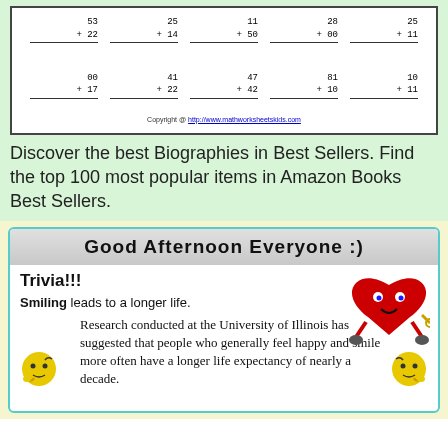[Figure (other): Math addition worksheet with two rows of addition problems, small numbers, with answer lines underneath. Copyright line at bottom.]
Discover the best Biographies in Best Sellers. Find the top 100 most popular items in Amazon Books Best Sellers.
[Figure (infographic): Trivia card with header 'Good Afternoon Everyone :)', trivia title 'Trivia!!!', statement 'Smiling leads to a longer life.' and research paragraph about University of Illinois study. Decorated with heart character and emoji characters.]
Our essay writing service is designed to get you the extra help you need in completing your next university essay. We match the best academic writers, qualified across on